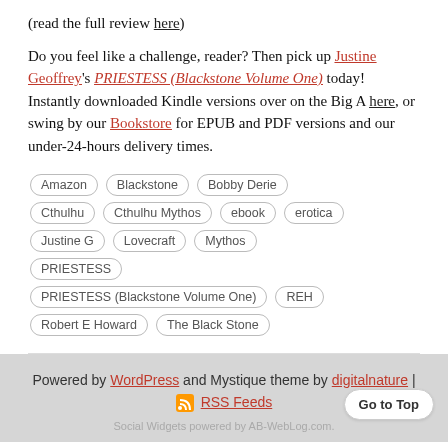(read the full review here)
Do you feel like a challenge, reader? Then pick up Justine Geoffrey's PRIESTESS (Blackstone Volume One) today! Instantly downloaded Kindle versions over on the Big A here, or swing by our Bookstore for EPUB and PDF versions and our under-24-hours delivery times.
Amazon
Blackstone
Bobby Derie
Cthulhu
Cthulhu Mythos
ebook
erotica
Justine G
Lovecraft
Mythos
PRIESTESS
PRIESTESS (Blackstone Volume One)
REH
Robert E Howard
The Black Stone
Powered by WordPress and Mystique theme by digitalnature | RSS Feeds
Social Widgets powered by AB-WebLog.com.